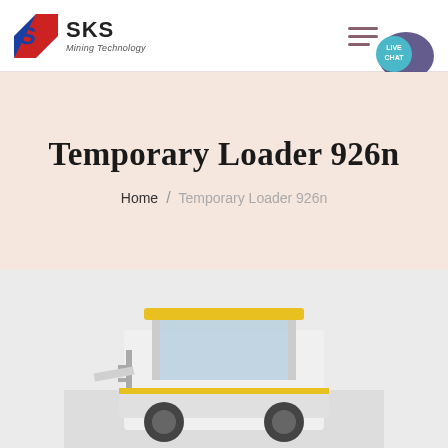SKS Mining Technology
Temporary Loader 926n
Home / Temporary Loader 926n
[Figure (photo): Yellow wheel loader machine (Temporary Loader 926n) photographed from the front-right angle, showing the cab and front bucket, partially cropped at bottom of page.]